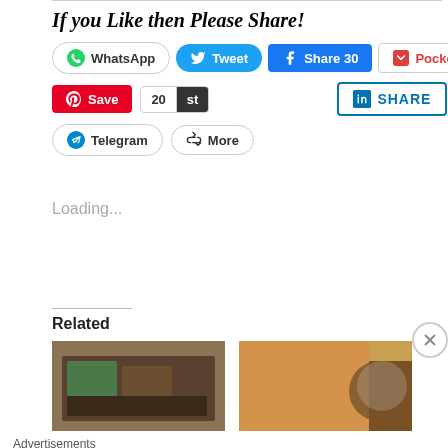If you Like then Please Share!
[Figure (screenshot): Social sharing buttons row: WhatsApp, Tweet, Share 30, Pocket 0]
[Figure (screenshot): Second row of sharing buttons: Pinterest Save with count 20/st, LinkedIn SHARE, Telegram, More]
Loading...
Related
[Figure (photo): Related article image 1: flatbread on a plate]
[Figure (photo): Related article image 2: spiced flatbread with side dish]
Advertisements
[Figure (infographic): Seamless food delivery advertisement banner with pizza image, Seamless logo, and ORDER NOW button]